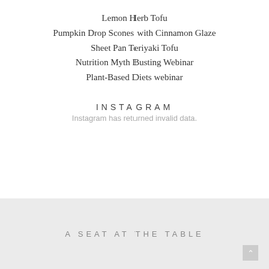Lemon Herb Tofu
Pumpkin Drop Scones with Cinnamon Glaze
Sheet Pan Teriyaki Tofu
Nutrition Myth Busting Webinar
Plant-Based Diets webinar
INSTAGRAM
Instagram has returned invalid data.
A SEAT AT THE TABLE